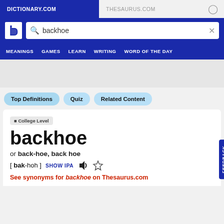DICTIONARY.COM   THESAURUS.COM
[Figure (screenshot): Dictionary.com logo and search bar with 'backhoe' query]
MEANINGS   GAMES   LEARN   WRITING   WORD OF THE DAY
Top Definitions
Quiz
Related Content
College Level
backhoe
or back-hoe, back hoe
[ bak-hoh ]  SHOW IPA
See synonyms for backhoe on Thesaurus.com